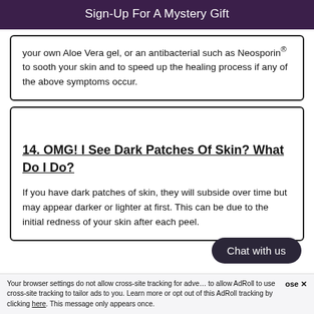Sign-Up For A Mystery Gift
your own Aloe Vera gel, or an antibacterial such as Neosporin® to sooth your skin and to speed up the healing process if any of the above symptoms occur.
14. OMG! I See Dark Patches Of Skin? What Do I Do?
If you have dark patches of skin, they will subside over time but may appear darker or lighter at first. This can be due to the initial redness of your skin after each peel.
Your browser settings do not allow cross-site tracking for advertising. Update your settings to allow AdRoll to use cross-site tracking to tailor ads to you. Learn more or opt out of this AdRoll tracking by clicking here. This message only appears once.